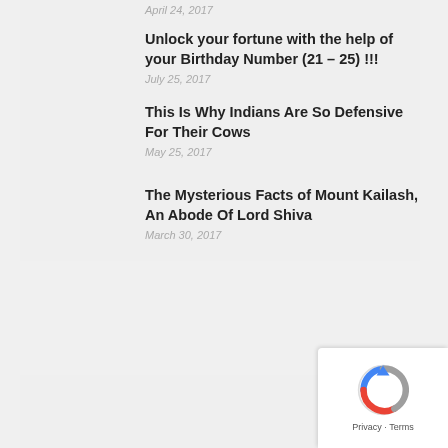April 24, 2017
Unlock your fortune with the help of your Birthday Number (21 – 25) !!!
July 25, 2017
This Is Why Indians Are So Defensive For Their Cows
May 25, 2017
The Mysterious Facts of Mount Kailash, An Abode Of Lord Shiva
March 30, 2017
[Figure (logo): reCAPTCHA logo with Privacy and Terms text]